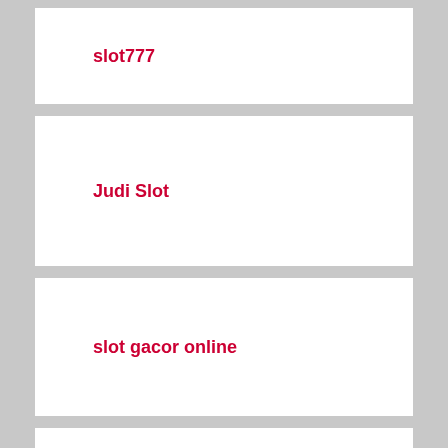slot777
Judi Slot
slot gacor online
slot88